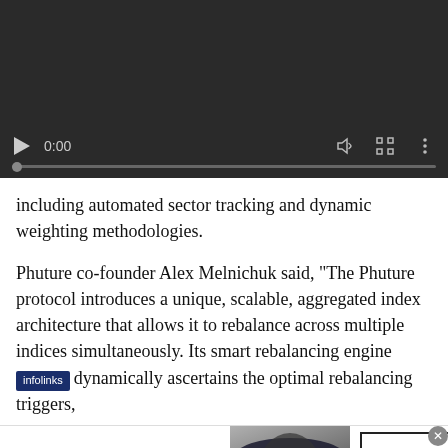[Figure (screenshot): Video player interface with dark background showing playback controls: play button, time display '0:00', progress bar, volume icon, fullscreen icon, and more options icon.]
including automated sector tracking and dynamic weighting methodologies.
Phuture co-founder Alex Melnichuk said, "The Phuture protocol introduces a unique, scalable, aggregated index architecture that allows it to rebalance across multiple indices simultaneously. Its smart rebalancing engine dynamically ascertains the optimal rebalancing triggers,
[Figure (screenshot): Bloomingdale's advertisement banner showing logo, tagline 'View Today's Top Deals!', model with hat, and 'SHOP NOW >' button.]